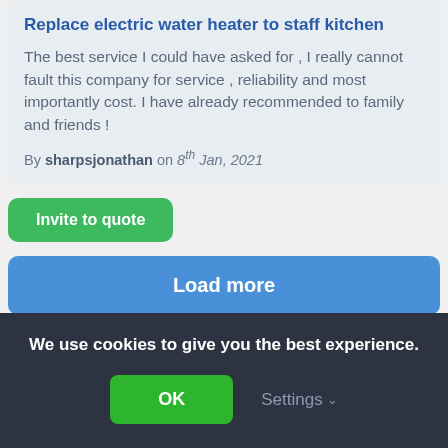Replace electric water heater to staff kitchen
The best service I could have asked for , I really cannot fault this company for service , reliability and most importantly cost. I have already recommended to family and friends !
By sharpsjonathan on 8th Jan, 2021
Invite to quote
Load more
TRUSTED BY EXPERTS
We use cookies to give you the best experience.
OK
Settings